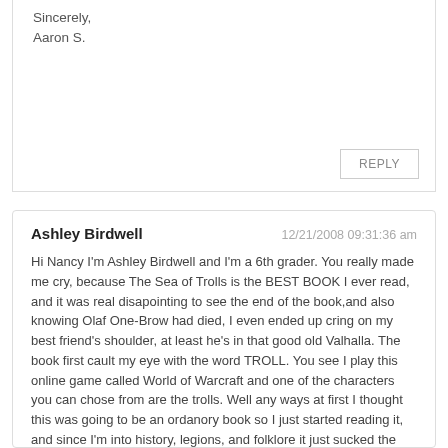Sincerely,
Aaron S.
REPLY
Ashley Birdwell
12/21/2008 09:31:36 am
Hi Nancy I'm Ashley Birdwell and I'm a 6th grader. You really made me cry, because The Sea of Trolls is the BEST BOOK I ever read, and it was real disapointing to see the end of the book,and also knowing Olaf One-Brow had died, I even ended up cring on my best friend's shoulder, at least he's in that good old Valhalla. The book first cault my eye with the word TROLL. You see I play this online game called World of Warcraft and one of the characters you can chose from are the trolls. Well any ways at first I thought this was going to be an ordanory book so I just started reading it, and since I'm into history, legions, and folklore it just sucked the gamer girl right out of me. I'm glad there's a sequel to it and I can't wait to read i, I hope it's as long, or longer than The Sea of Trolls. By the way I too started writing my own book, I even started last year, but it's kind of going slow at least it was until I read your book and remembered to read up on legions and such.